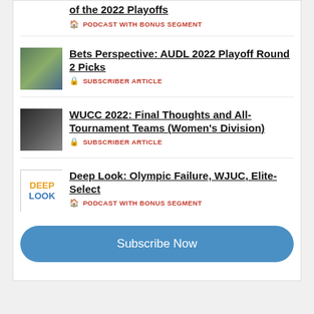of the 2022 Playoffs — PODCAST WITH BONUS SEGMENT
Bets Perspective: AUDL 2022 Playoff Round 2 Picks — SUBSCRIBER ARTICLE
WUCC 2022: Final Thoughts and All-Tournament Teams (Women's Division) — SUBSCRIBER ARTICLE
Deep Look: Olympic Failure, WJUC, Elite-Select — PODCAST WITH BONUS SEGMENT
Subscribe Now